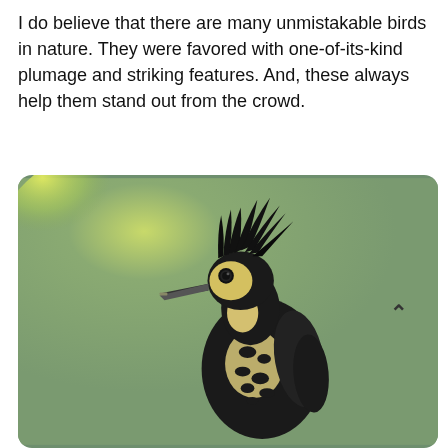I do believe that there are many unmistakable birds in nature. They were favored with one-of-its-kind plumage and striking features. And, these always help them stand out from the crowd.
[Figure (photo): A black and yellow crested woodpecker bird perched, shown from the side, against a soft green blurred background with yellow-green bokeh in the upper left. The bird has a dramatic black spiky crest, yellow face patch, black and white patterned body, and a pointed beak.]